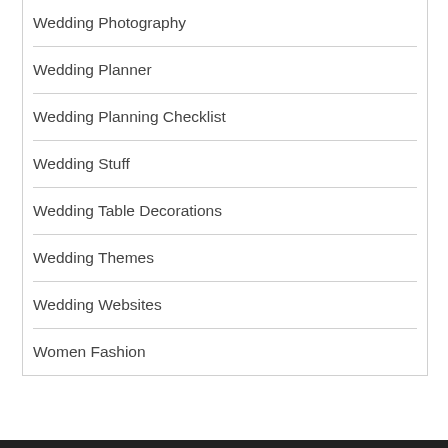Wedding Photography
Wedding Planner
Wedding Planning Checklist
Wedding Stuff
Wedding Table Decorations
Wedding Themes
Wedding Websites
Women Fashion